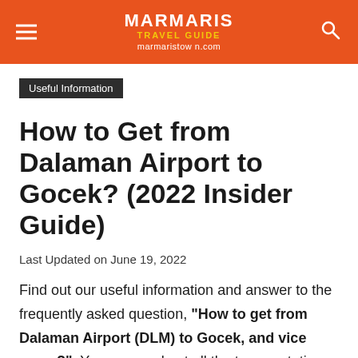MARMARIS TRAVEL GUIDE marmaristown.com
Useful Information
How to Get from Dalaman Airport to Gocek? (2022 Insider Guide)
Last Updated on June 19, 2022
Find out our useful information and answer to the frequently asked question, "How to get from Dalaman Airport (DLM) to Gocek, and vice versa?". You can read out all the transportation options including insider tips and plan your trip